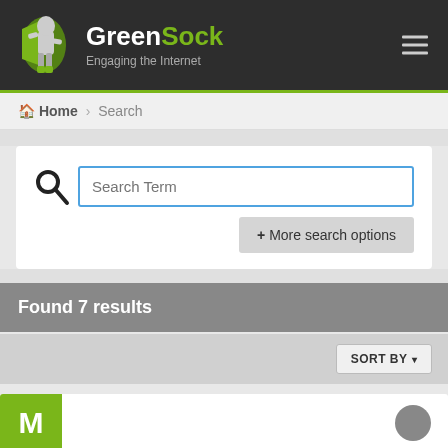[Figure (logo): GreenSock logo with superhero mascot figure and green cape, text reads 'GreenSock' with subtitle 'Engaging the Internet']
GreenSock – Engaging the Internet
Home > Search
Search Term
+ More search options
Found 7 results
SORT BY
M